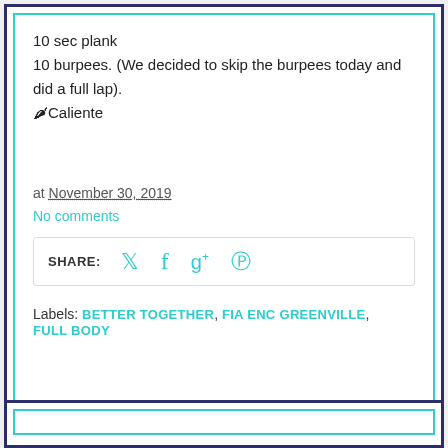10 sec plank
10 burpees. (We decided to skip the burpees today and did a full lap).
🌶Caliente
at November 30, 2019
No comments
SHARE:
Labels: BETTER TOGETHER, FIA ENC GREENVILLE, FULL BODY